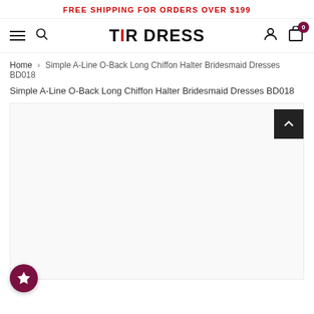FREE SHIPPING FOR ORDERS OVER $199
[Figure (logo): TIR DRESS website logo with navigation bar including hamburger menu, search icon, user icon, and cart icon with badge showing 0]
Home > Simple A-Line O-Back Long Chiffon Halter Bridesmaid Dresses BD018
Simple A-Line O-Back Long Chiffon Halter Bridesmaid Dresses BD018
[Figure (photo): Product image area (white/empty) for bridesmaid dress with back-to-top button and wishlist star button]